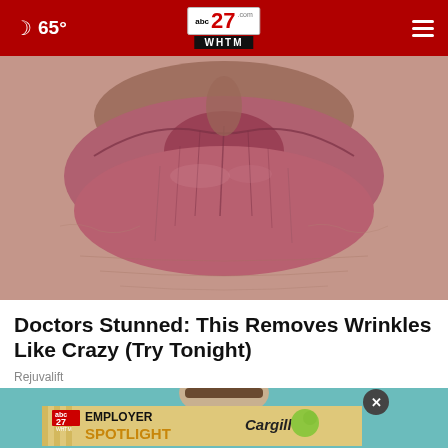65° | abc27 WHTM
[Figure (photo): Close-up macro photo of elderly lips with deep wrinkles]
Doctors Stunned: This Removes Wrinkles Like Crazy (Try Tonight)
Rejuvalift
[Figure (screenshot): Advertisement banner: abc27 WHTM Employer Spotlight featuring Cargill, with a partial view of a person and a close button]